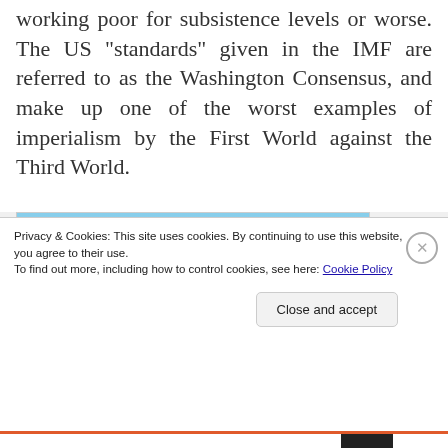working poor for subsistence levels or worse. The US “standards” given in the IMF are referred to as the Washington Consensus, and make up one of the worst examples of imperialism by the First World against the Third World.
[Figure (illustration): Tumblr ad banner showing the Tumblr logo (pink and purple letter T) against a blue sky background with yellow sparkles, text reading 'TUMBLR AD-FREE BROWSING' and '+ FREE SHIPPING']
Privacy & Cookies: This site uses cookies. By continuing to use this website, you agree to their use.
To find out more, including how to control cookies, see here: Cookie Policy
Close and accept